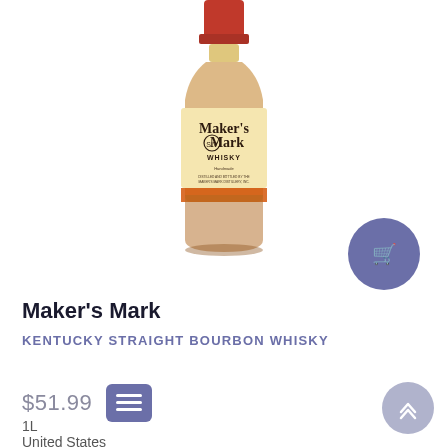[Figure (photo): Maker's Mark Kentucky Straight Bourbon Whisky bottle with red wax top and cream label, shown on white background]
Maker's Mark
KENTUCKY STRAIGHT BOURBON WHISKY
$51.99
1L
United States